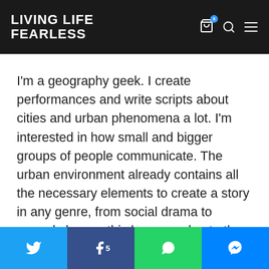LIVING LIFE FEARLESS
I'm a geography geek. I create performances and write scripts about cities and urban phenomena a lot. I'm interested in how small and bigger groups of people communicate. The urban environment already contains all the necessary elements to create a story in any genre, from social drama to comedy horror; this happens due to the oversaturation of symbols and patterns. Landscape, architecture, typography, decorative arts, and public art fill the space (using all sensory systems) more and more densely every year.
Twitter | Facebook 5 | WhatsApp | Messenger